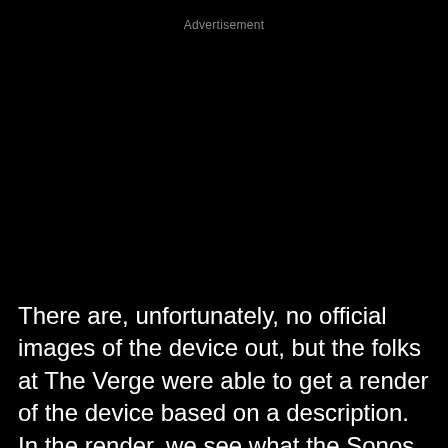Advertisement
[Figure (photo): Large black rectangle representing an advertisement image area with no visible content]
There are, unfortunately, no official images of the device out, but the folks at The Verge were able to get a render of the device based on a description. In the render, we see what the Sonos Model S36 will look most likely look like with the front taken off. We